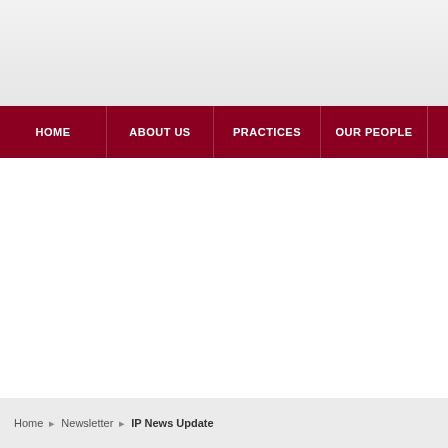HOME | ABOUT US | PRACTICES | OUR PEOPLE
Home  Newsletter  IP News Update